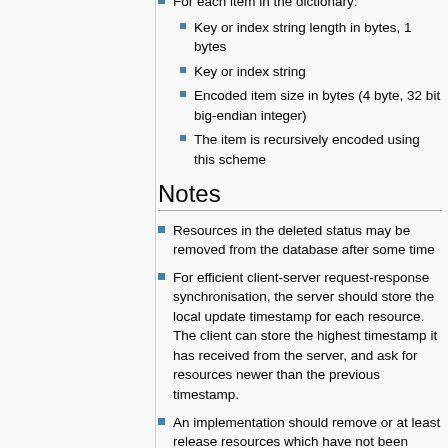For each item in the dictionary:
Key or index string length in bytes, 1 bytes
Key or index string
Encoded item size in bytes (4 byte, 32 bit big-endian integer)
The item is recursively encoded using this scheme
Notes
Resources in the deleted status may be removed from the database after some time
For efficient client-server request-response synchronisation, the server should store the local update timestamp for each resource. The client can store the highest timestamp it has received from the server, and ask for resources newer than the previous timestamp.
An implementation should remove or at least release resources which have not been updates in more than one year